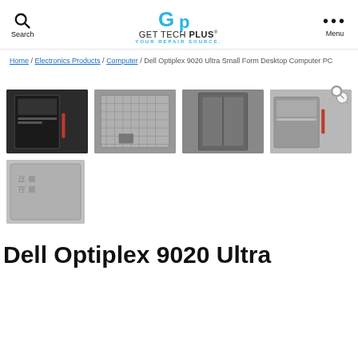GET TECH PLUS - YOUR REPAIR SOURCE. Search | Menu
Home / Electronics Products / Computer / Dell Optiplex 9020 Ultra Small Form Desktop Computer PC
[Figure (photo): Thumbnail image 1: Dell Optiplex 9020 desktop computer front view, dark chassis]
[Figure (photo): Thumbnail image 2: Dell Optiplex 9020 desktop computer back/internals view]
[Figure (photo): Thumbnail image 3: Dell Optiplex 9020 desktop computer side panel view]
[Figure (photo): Thumbnail image 4: Dell Optiplex 9020 desktop computer angle view with magnifier icon]
[Figure (photo): Thumbnail image 5: Dell Optiplex 9020 desktop computer top-down view]
Dell Optiplex 9020 Ultra